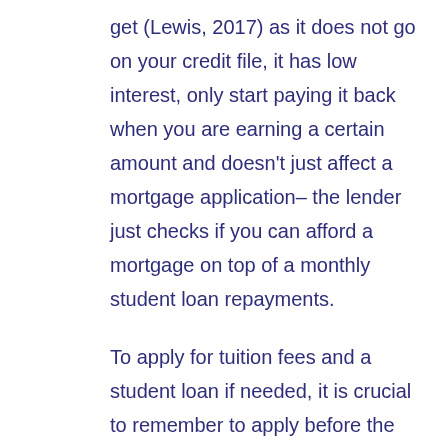get (Lewis, 2017) as it does not go on your credit file, it has low interest, only start paying it back when you are earning a certain amount and doesn't just affect a mortgage application– the lender just checks if you can afford a mortgage on top of a monthly student loan repayments.

To apply for tuition fees and a student loan if needed, it is crucial to remember to apply before the deadline in June and just as important to re-apply each year you require the loan and student loan. Applying for SAAS is an easy online application at www.saas.gov.uk.